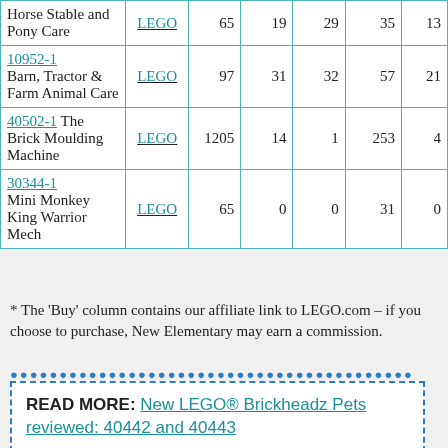| Set | Buy | Pieces | Minifigs | Owned | Wishlisted | Reviews |
| --- | --- | --- | --- | --- | --- | --- |
| Horse Stable and Pony Care | LEGO | 65 | 19 | 29 | 35 | 13 |
| 10952-1 Barn, Tractor & Farm Animal Care | LEGO | 97 | 31 | 32 | 57 | 21 |
| 40502-1 The Brick Moulding Machine | LEGO | 1205 | 14 | 1 | 253 | 4 |
| 30344-1 Mini Monkey King Warrior Mech | LEGO | 65 | 0 | 0 | 31 | 0 |
* The 'Buy' column contains our affiliate link to LEGO.com – if you choose to purchase, New Elementary may earn a commission.
READ MORE: New LEGO® Brickheadz Pets reviewed: 40442 and 40443